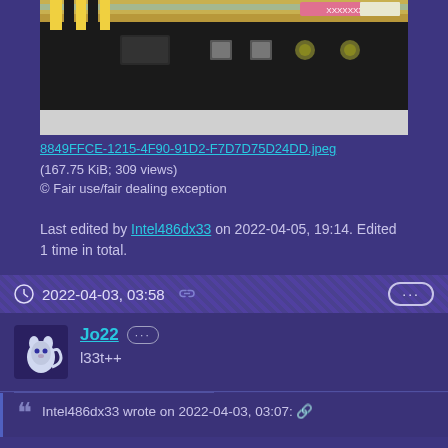[Figure (photo): Bottom/back view of a graphics card or hardware component showing PCB, power connectors, and iridescent metal plate with fasteners on a white background]
8849FFCE-1215-4F90-91D2-F7D7D75D24DD.jpeg
(167.75 KiB; 309 views)
© Fair use/fair dealing exception
Last edited by Intel486dx33 on 2022-04-05, 19:14. Edited 1 time in total.
2022-04-03, 03:58
Jo22  l33t++
Intel486dx33 wrote on 2022-04-03, 03:07: